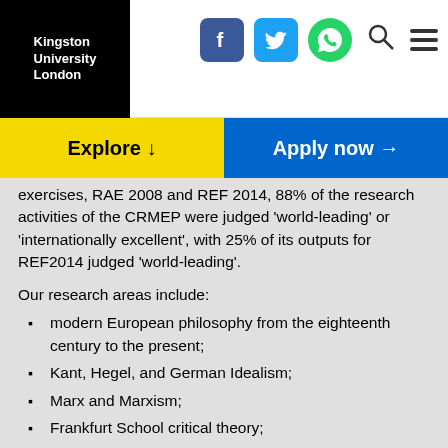Kingston University London
exercises, RAE 2008 and REF 2014, 88% of the research activities of the CRMEP were judged 'world-leading' or 'internationally excellent', with 25% of its outputs for REF2014 judged 'world-leading'.
Our research areas include:
modern European philosophy from the eighteenth century to the present;
Kant, Hegel, and German Idealism;
Marx and Marxism;
Frankfurt School critical theory;
philosophies of time and history;